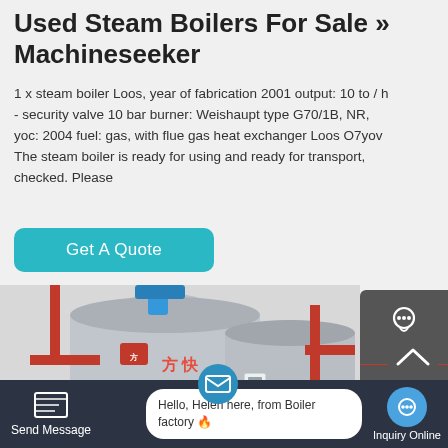Used Steam Boilers For Sale » Machineseeker
1 x steam boiler Loos, year of fabrication 2001 output: 10 to / h - security valve 10 bar burner: Weishaupt type G70/1B, NR, yoc: 2004 fuel: gas, with flue gas heat exchanger Loos O7yov The steam boiler is ready for using and ready for transport, checked. Please
[Figure (screenshot): Teal 'Get A Quote' button]
[Figure (photo): Industrial steam boilers in a factory setting, showing large silver cylindrical boilers with red, yellow, and blue piping. Chinese text '方快' visible on boiler.]
[Figure (screenshot): Right sidebar with Chat, Email, and Contact icons on dark grey background]
[Figure (screenshot): TOP button overlay]
[Figure (screenshot): Bottom navigation bar with Send Message, chat bubble saying 'Hello, Helen here, from Boiler factory', and Inquiry Online button]